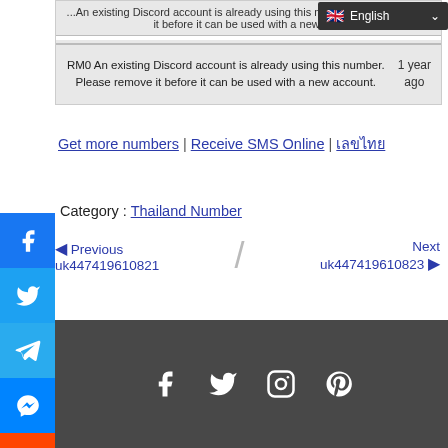| ...An existing Discord account is already using this number. Please remove it before it can be used with a new ac... |  |
| RM0 An existing Discord account is already using this number. Please remove it before it can be used with a new account. | 1 year ago |
Get more numbers | Receive SMS Online |
Category : Thailand Number
Previous uk447419610821 / Next uk447419610823
[Figure (infographic): Dark footer bar with social media icons: Facebook, Twitter, Instagram, Pinterest]
[Figure (infographic): Side social share buttons: Facebook, Twitter, Telegram, Messenger, Reddit, Gmail]